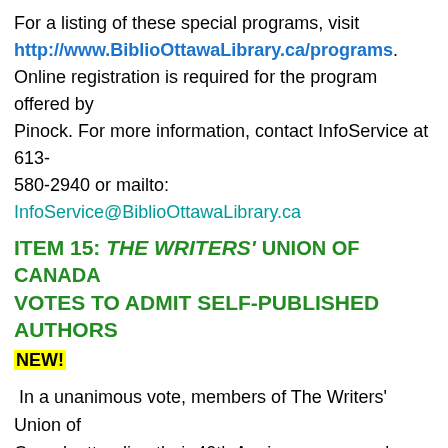For a listing of these special programs, visit http://www.BiblioOttawaLibrary.ca/programs. Online registration is required for the program offered by Pinock. For more information, contact InfoService at 613-580-2940 or mailto: InfoService@BiblioOttawaLibrary.ca
ITEM 15: THE WRITERS' UNION OF CANADA VOTES TO ADMIT SELF-PUBLISHED AUTHORS
NEW!
In a unanimous vote, members of The Writers' Union of Canadaattending their 40th Anniversary annual general meeting June 1st approved a resolution opening membership in the Union to professional, self-published authors.